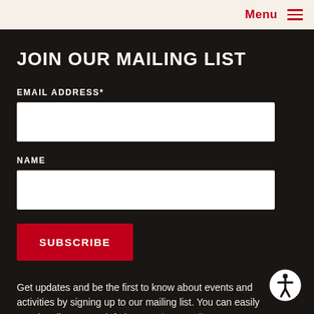Menu
JOIN OUR MAILING LIST
EMAIL ADDRESS*
NAME
SUBSCRIBE
Get updates and be the first to know about events and activities by signing up to our mailing list. You can easily unsubscribe – more info in our Privacy Policy.